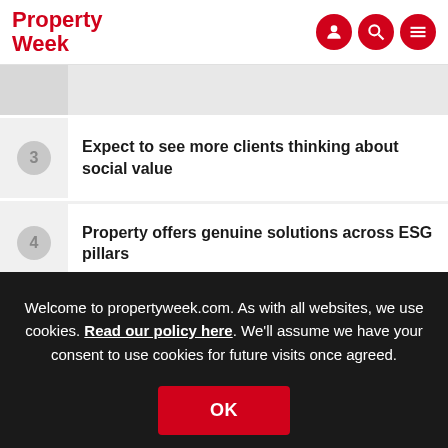Property Week
3 Expect to see more clients thinking about social value
4 Property offers genuine solutions across ESG pillars
Welcome to propertyweek.com. As with all websites, we use cookies. Read our policy here. We'll assume we have your consent to use cookies for future visits once agreed.
OK
Advertisement